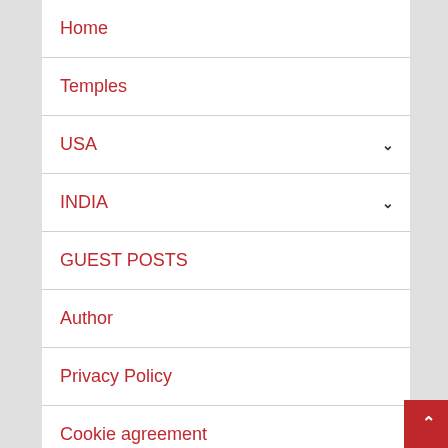Home
Temples
USA
INDIA
GUEST POSTS
Author
Privacy Policy
Cookie agreement